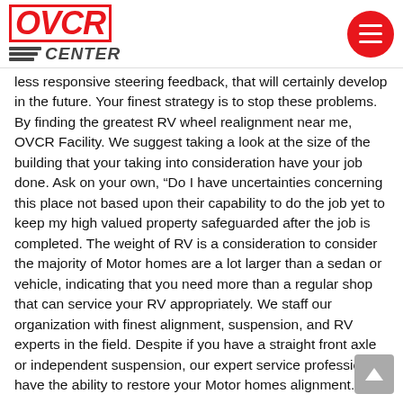OVCR CENTER logo with menu button
less responsive steering feedback, that will certainly develop in the future. Your finest strategy is to stop these problems. By finding the greatest RV wheel realignment near me, OVCR Facility. We suggest taking a look at the size of the building that your taking into consideration have your job done. Ask on your own, “Do I have uncertainties concerning this place not based upon their capability to do the job yet to keep my high valued property safeguarded after the job is completed. The weight of RV is a consideration to consider the majority of Motor homes are a lot larger than a sedan or vehicle, indicating that you need more than a regular shop that can service your RV appropriately. We staff our organization with finest alignment, suspension, and RV experts in the field. Despite if you have a straight front axle or independent suspension, our expert service professionals have the ability to restore your Motor homes alignment. By